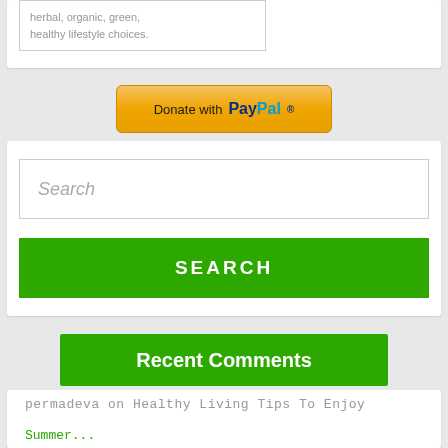herbal, organic, green, healthy lifestyle choices.
[Figure (other): Donate with PayPal button]
Search
SEARCH
Recent Comments
permadeva on Healthy Living Tips To Enjoy